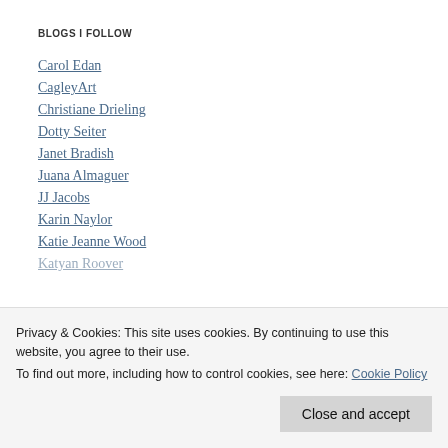BLOGS I FOLLOW
Carol Edan
CagleyArt
Christiane Drieling
Dotty Seiter
Janet Bradish
Juana Almaguer
JJ Jacobs
Karin Naylor
Katie Jeanne Wood
Katyan Roover (partially visible)
Nelvia McGrath (partially visible)
Privacy & Cookies: This site uses cookies. By continuing to use this website, you agree to their use.
To find out more, including how to control cookies, see here: Cookie Policy
Close and accept